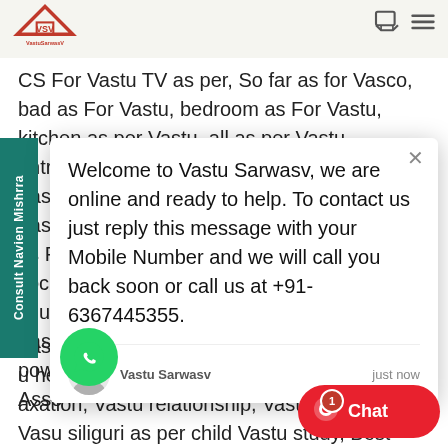VastuSarwasV logo with navigation icons
CS For Vastu TV as per, So far as for Vasco, bad as For Vastu, bedroom as For Vastu, kitchen as per Vastu, all as per Vastu, entrance as per Vastu, parking space as per Vastu, clinic as per Vastu, counter as per Vastu, Saif and For Vastu, Mani opportunities as F social, chur, Vastu, power, Asso
Welcome to Vastu Sarwasv, we are online and ready to help. To contact us just reply this message with your Mobile Number and we will call you back soon or call us at +91-6367445355.
Vastu Sarwasv     just now
Vastu clarity, Vasu mind, Vastu mentality, u health, Vasu power, Vasu fame, Vastu axation, Vastu relationship, Vastu Vasu siliguri as per child Vastu study, Best